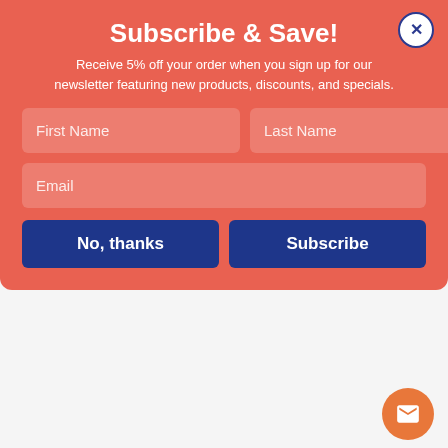Subscribe & Save!
Receive 5% off your order when you sign up for our newsletter featuring new products, discounts, and specials.
[Figure (screenshot): Newsletter subscription popup modal with First Name, Last Name, Email fields and No thanks / Subscribe buttons on a coral/red background]
Write a Review
★★★★★   Verified Buyer
August 22, 2022 by David C. (united states)
"Everything is great! My only issue is order processing is slow."